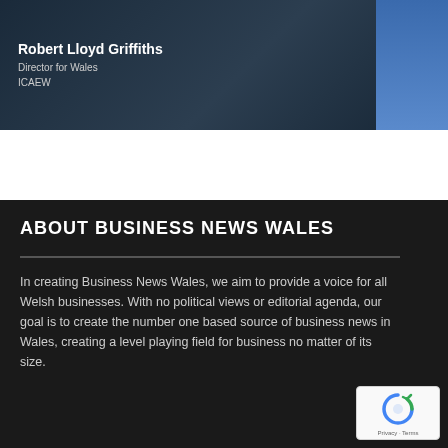[Figure (photo): Banner with dark navy background showing Robert Lloyd Griffiths name and title, with ICAEW Chartered Accountants logo, and a partial photo of a person in the top right corner]
ABOUT BUSINESS NEWS WALES
In creating Business News Wales, we aim to provide a voice for all Welsh businesses. With no political views or editorial agenda, our goal is to create the number one based source of business news in Wales, creating a level playing field for business no matter of its size.